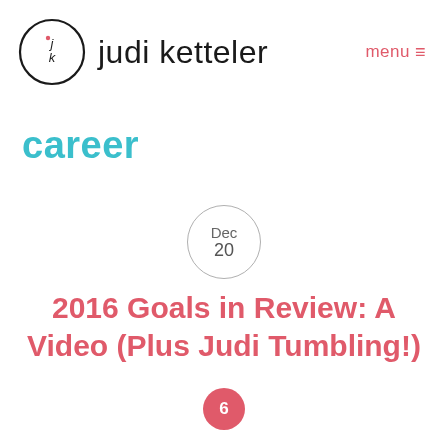judi ketteler  menu
career
Dec 20
2016 Goals in Review: A Video (Plus Judi Tumbling!)
6